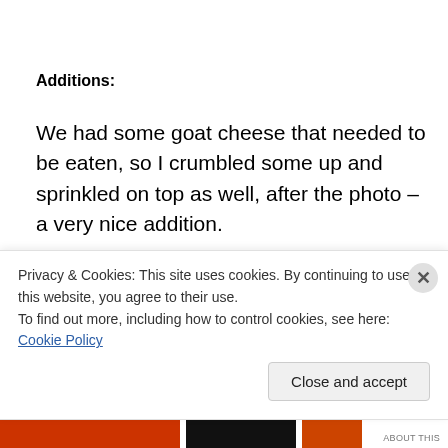Additions:
We had some goat cheese that needed to be eaten, so I crumbled some up and sprinkled on top as well, after the photo – a very nice addition.
I also thought that adding a can of drained and rinsed white beans might be nice and add a big protein boost (although quinoa is already high in protein).
Privacy & Cookies: This site uses cookies. By continuing to use this website, you agree to their use.
To find out more, including how to control cookies, see here: Cookie Policy